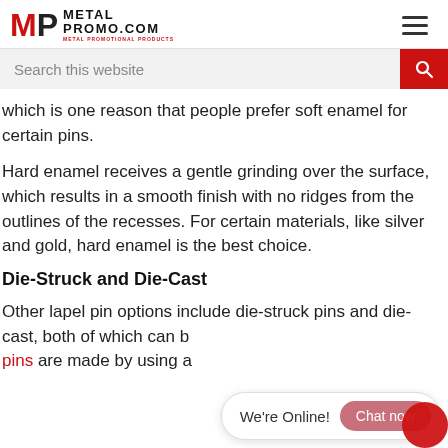MP METAL PROMO.COM METAL PROMOTIONAL PRODUCTS
which is one reason that people prefer soft enamel for certain pins.
Hard enamel receives a gentle grinding over the surface, which results in a smooth finish with no ridges from the outlines of the recesses. For certain materials, like silver and gold, hard enamel is the best choice.
Die-Struck and Die-Cast
Other lapel pin options include die-struck pins and die-cast, both of which can b... pins are made by using a...